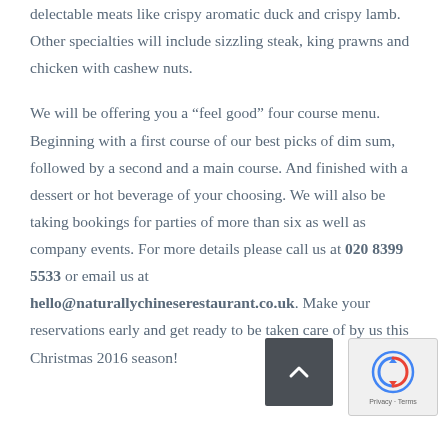delectable meats like crispy aromatic duck and crispy lamb. Other specialties will include sizzling steak, king prawns and chicken with cashew nuts.
We will be offering you a “feel good” four course menu. Beginning with a first course of our best picks of dim sum, followed by a second and a main course. And finished with a dessert or hot beverage of your choosing. We will also be taking bookings for parties of more than six as well as company events. For more details please call us at 020 8399 5533 or email us at hello@naturallychineserestaurant.co.uk. Make your reservations early and get ready to be taken care of by us this Christmas 2016 season!